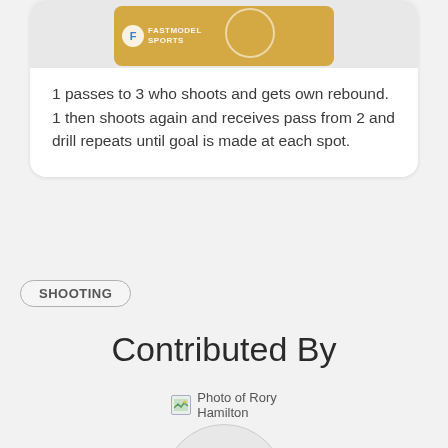[Figure (illustration): Basketball court diagram with woodgrain floor texture and a FastModel Sports logo in the upper-left corner, showing a partial court view with a center circle.]
1 passes to 3 who shoots and gets own rebound. 1 then shoots again and receives pass from 2 and drill repeats until goal is made at each spot.
SHOOTING
Contributed By
[Figure (photo): Photo of Rory Hamilton — circular avatar placeholder with label 'Photo of Rory Hamilton']